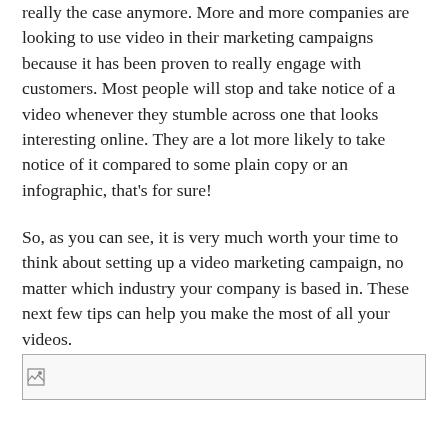really the case anymore. More and more companies are looking to use video in their marketing campaigns because it has been proven to really engage with customers. Most people will stop and take notice of a video whenever they stumble across one that looks interesting online. They are a lot more likely to take notice of it compared to some plain copy or an infographic, that's for sure!
So, as you can see, it is very much worth your time to think about setting up a video marketing campaign, no matter which industry your company is based in. These next few tips can help you make the most of all your videos.
[Figure (photo): Broken image placeholder shown at bottom of page]